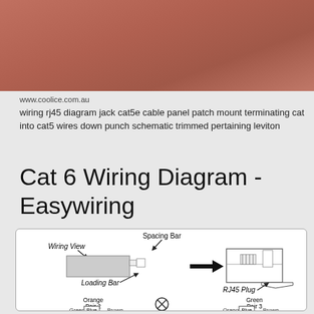[Figure (photo): Reddish-brown background photo, partially visible at top of page]
www.coolice.com.au
wiring rj45 diagram jack cat5e cable panel patch mount terminating cat into cat5 wires down punch schematic trimmed pertaining leviton
Cat 6 Wiring Diagram - Easywiring
[Figure (schematic): Cat 6 wiring diagram showing Wiring View with Spacing Bar, Loading Bar, RJ45 Plug labels and wire pair color indicators (Orange Pair 2, Green Pair 3, Green/Blue/Brown, Orange/Blue/Brown). Includes an X symbol in a circle at the bottom center.]